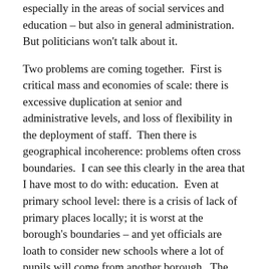especially in the areas of social services and education – but also in general administration. But politicians won't talk about it.
Two problems are coming together.  First is critical mass and economies of scale: there is excessive duplication at senior and administrative levels, and loss of flexibility in the deployment of staff.  Then there is geographical incoherence: problems often cross boundaries.  I can see this clearly in the area that I have most to do with: education.  Even at primary school level: there is a crisis of lack of primary places locally; it is worst at the borough's boundaries – and yet officials are loath to consider new schools where a lot of pupils will come from another borough.  The problem gets worse at secondary level – and it is an absolute joke at tertiary – where the colleges boroughs are responsible for service much bigger areas than a